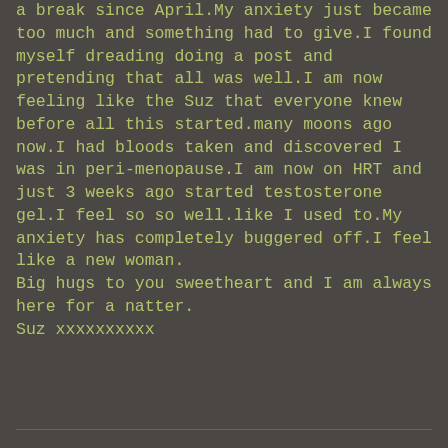a break since April.My anxiety just became too much and something had to give.I found myself dreading doing a post and pretending that all was well.I am now feeling like the Suz that everyone knew before all this started.many moons ago now.I had bloods taken and discovered I was in peri-menopause.I am now on HRT and just 3 weeks ago started testosterone gel.I feel so so well.like I used to.My anxiety has completely buggered off.I feel like a new woman.
Big hugs to you sweetheart and I am always here for a natter.
Suz xxxxxxxxxx